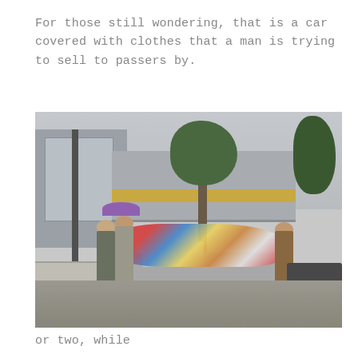For those still wondering, that is a car covered with clothes that a man is trying to sell to passers by.
[Figure (photo): A street scene showing a car completely covered with piles of colorful clothes, with men standing around it appearing to sell the garments to passers by. Buildings and trees visible in the background.]
And while I was there only for a minute or two, while